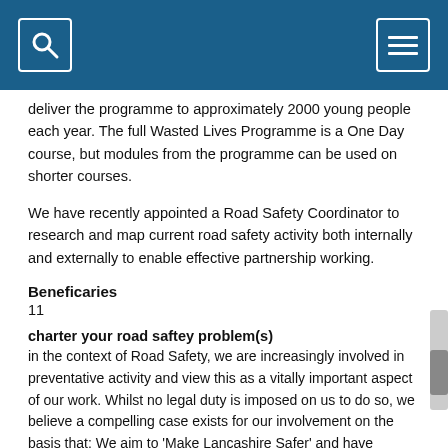[Navigation bar with search and menu icons]
deliver the programme to approximately 2000 young people each year. The full Wasted Lives Programme is a One Day course, but modules from the programme can be used on shorter courses.
We have recently appointed a Road Safety Coordinator to research and map current road safety activity both internally and externally to enable effective partnership working.
Beneficaries
11
charter your road saftey problem(s)
in the context of Road Safety, we are increasingly involved in preventative activity and view this as a vitally important aspect of our work. Whilst no legal duty is imposed on us to do so, we believe a compelling case exists for our involvement on the basis that: We aim to 'Make Lancashire Safer' and have defined one of our objectives as a reduction in the number of emergency incidents and their consequences.